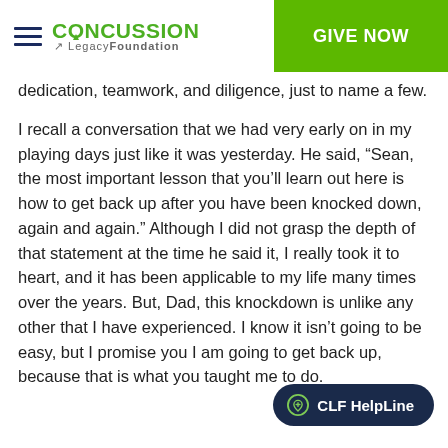CONCUSSION LegacyFoundation | GIVE NOW
dedication, teamwork, and diligence, just to name a few.
I recall a conversation that we had very early on in my playing days just like it was yesterday. He said, “Sean, the most important lesson that you’ll learn out here is how to get back up after you have been knocked down, again and again.” Although I did not grasp the depth of that statement at the time he said it, I really took it to heart, and it has been applicable to my life many times over the years. But, Dad, this knockdown is unlike any other that I have experienced. I know it isn’t going to be easy, but I promise you I am going to get back up, because that is what you taught me to do.